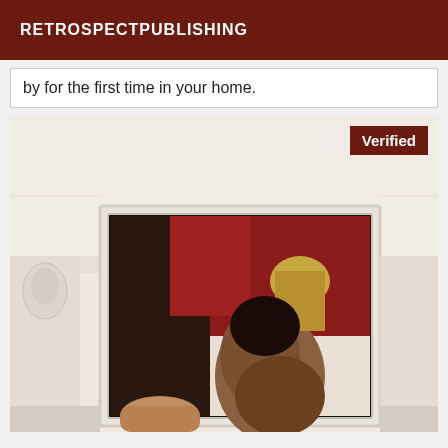RETROSPECTPUBLISHING
by for the first time in your home.
[Figure (photo): Mirror selfie photo with a 'Verified' badge in the top right corner]